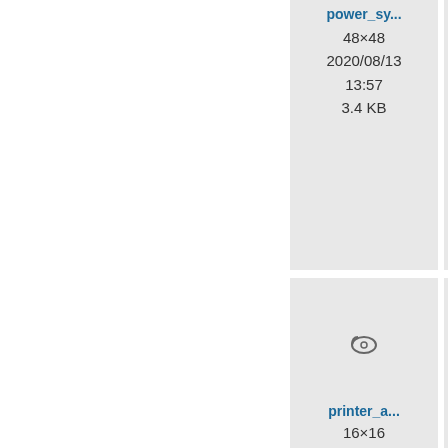[Figure (screenshot): File browser thumbnail grid showing icon files. Row 1: power_sy... (48x48, 2020/08/13 13:57, 3.4 KB), power_sy... (128x128, 2020/08/13 13:57, 12.7 KB), partial third card. Row 2: printer_a... (16x16, 2020/08/13 13:57, 898 B) with small cable icon, printer_a... (24x24, 2020/08/13 13:57, 1.4 KB) with small cable icon, partial third. Row 3: printer_a... with cable photo, printer_a... with broken image showing 'computer gadgets:printer_adapter_128.png', partial third.]